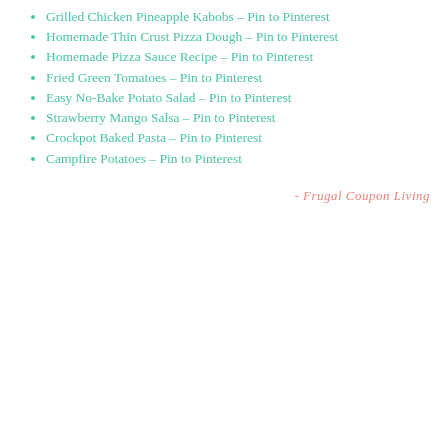Grilled Chicken Pineapple Kabobs – Pin to Pinterest
Homemade Thin Crust Pizza Dough – Pin to Pinterest
Homemade Pizza Sauce Recipe – Pin to Pinterest
Fried Green Tomatoes – Pin to Pinterest
Easy No-Bake Potato Salad – Pin to Pinterest
Strawberry Mango Salsa – Pin to Pinterest
Crockpot Baked Pasta – Pin to Pinterest
Campfire Potatoes – Pin to Pinterest
- Frugal Coupon Living